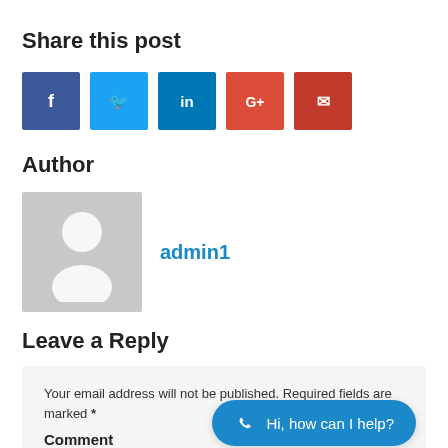Share this post
[Figure (other): Row of 5 social media share buttons: Facebook (blue), Twitter (light blue), LinkedIn (dark blue), Google+ (red-orange), Email/other (red)]
Author
[Figure (other): Author profile avatar placeholder (gray silhouette)]
admin1
Leave a Reply
Your email address will not be published. Required fields are marked *
Comment